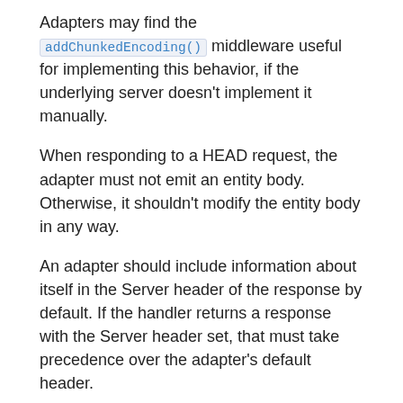...middleware useful...
Adapters may find the addChunkedEncoding() middleware useful for implementing this behavior, if the underlying server doesn't implement it manually.
When responding to a HEAD request, the adapter must not emit an entity body. Otherwise, it shouldn't modify the entity body in any way.
An adapter should include information about itself in the Server header of the response by default. If the handler returns a response with the Server header set, that must take precedence over the adapter's default header.
An adapter should include the Date header with the time the handler returns a response. If the handler returns a response with the Date header set, that must take precedence.
Inspiration